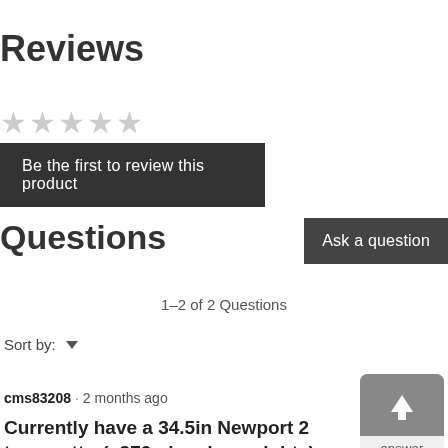Reviews
[Figure (other): Five empty/grey star rating icons]
Be the first to review this product
Questions
Ask a question
1–2 of 2 Questions
Sort by:
cms83208 · 2 months ago
Currently have a 34.5in Newport 2 type putter(~370g head w weights) steel